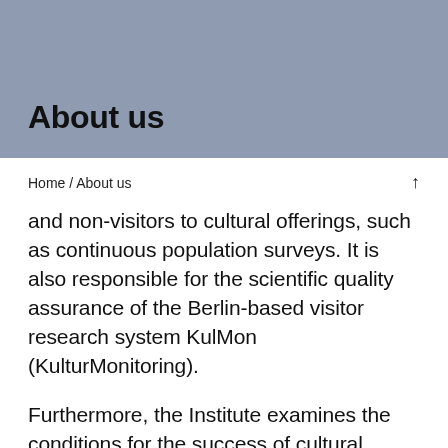About us
Home / About us
and non-visitors to cultural offerings, such as continuous population surveys. It is also responsible for the scientific quality assurance of the Berlin-based visitor research system KulMon (KulturMonitoring).
Furthermore, the Institute examines the conditions for the success of cultural participation. This is done, for example, through accompanying research on model projects of cultural offerings that